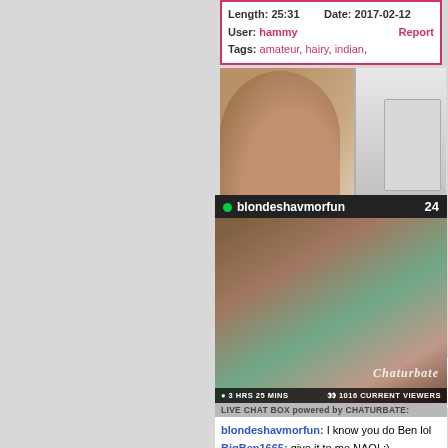Length: 25:31   Date: 2017-02-12
User: hammy   Report
Tags: amateur, hairy, indian,
[Figure (screenshot): Screenshot of a webcam stream interface showing blondeshavmorfun with 24 viewers, 3 HRS 25 MINS, 1016 CURRENT VIEWERS, with live chat box powered by CHATURBATE showing chat messages]
LIVE CHAT BOX powered by CHATURBATE:
blondeshavmorfun: I know you do Ben lol
BigBen1665: give it to me NAO! ;)
blondeshavmorfun: any other guys wanna see my fresh brazilian wax??? :O